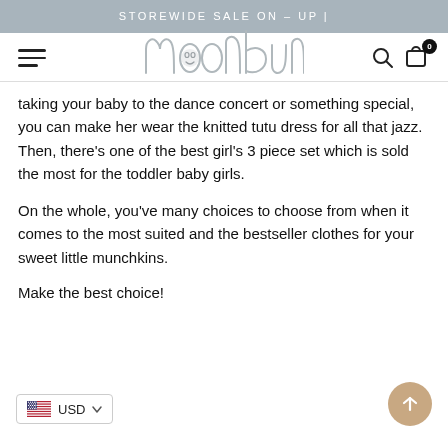STOREWIDE SALE ON – UP |
[Figure (logo): Moonbun brand logo in light grey handwritten style with a moon/face character, hamburger menu on left, search and cart icons on right]
taking your baby to the dance concert or something special, you can make her wear the knitted tutu dress for all that jazz. Then, there's one of the best girl's 3 piece set which is sold the most for the toddler baby girls.
On the whole, you've many choices to choose from when it comes to the most suited and the bestseller clothes for your sweet little munchkins.
Make the best choice!